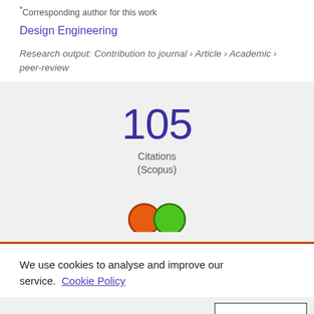*Corresponding author for this work
Design Engineering
Research output: Contribution to journal › Article › Academic › peer-review
[Figure (infographic): Citation count badge showing 105 Citations (Scopus)]
[Figure (infographic): Two colored circles (orange and green) partially visible at bottom of citations area]
We use cookies to analyse and improve our service. Cookie Policy